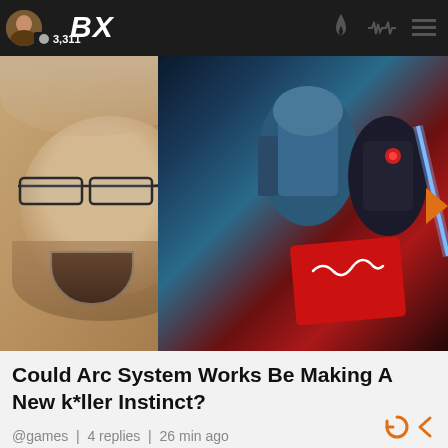BX | 3,311
[Figure (photo): Hero thumbnail image showing a surprised bearded man with glasses on the left, overlaid with video game character art from what appears to be Killer Instinct on the right, with a red card/logo partially visible]
Could Arc System Works Be Making A New k*ller Instinct?
@games | 4 replies | 26 min ago
4 | by Naga Sadow | 9 hr
most viewed right now